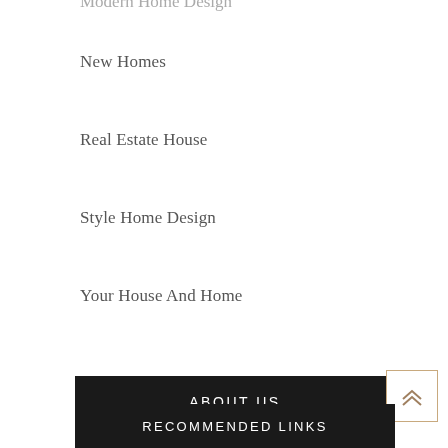Modern Home Design
New Homes
Real Estate House
Style Home Design
Your House And Home
ABOUT US
Contact Us
Advertise Here
Disclosure Policy
Sitemap
RECOMMENDED LINKS